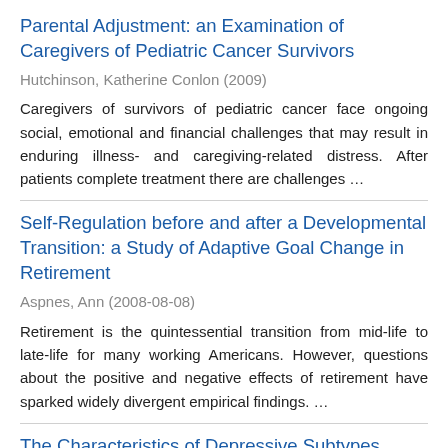Parental Adjustment: an Examination of Caregivers of Pediatric Cancer Survivors
Hutchinson, Katherine Conlon (2009)
Caregivers of survivors of pediatric cancer face ongoing social, emotional and financial challenges that may result in enduring illness- and caregiving-related distress. After patients complete treatment there are challenges …
Self-Regulation before and after a Developmental Transition: a Study of Adaptive Goal Change in Retirement
Aspnes, Ann (2008-08-08)
Retirement is the quintessential transition from mid-life to late-life for many working Americans. However, questions about the positive and negative effects of retirement have sparked widely divergent empirical findings. …
The Characteristics of Depressive Subtypes among